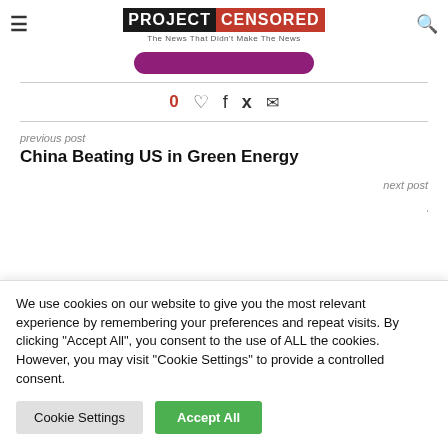PROJECT CENSORED — The News That Didn't Make The News
[Figure (other): Purple rounded rectangle button element]
0 ♡ f 𝕏 ✉ (social sharing icons with like count)
previous post
China Beating US in Green Energy
next post
We use cookies on our website to give you the most relevant experience by remembering your preferences and repeat visits. By clicking "Accept All", you consent to the use of ALL the cookies. However, you may visit "Cookie Settings" to provide a controlled consent.
Cookie Settings | Accept All